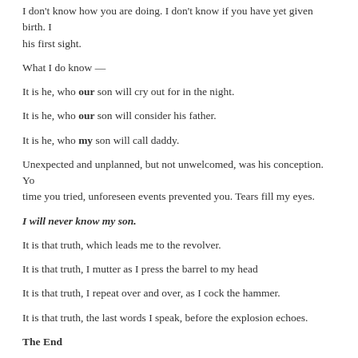I don't know how you are doing. I don't know if you have yet given birth. his first sight.
What I do know —
It is he, who our son will cry out for in the night.
It is he, who our son will consider his father.
It is he, who my son will call daddy.
Unexpected and unplanned, but not unwelcomed, was his conception. time you tried, unforeseen events prevented you. Tears fill my eyes.
I will never know my son.
It is that truth, which leads me to the revolver.
It is that truth, I mutter as I press the barrel to my head
It is that truth, I repeat over and over, as I cock the hammer.
It is that truth, the last words I speak, before the explosion echoes.
The End